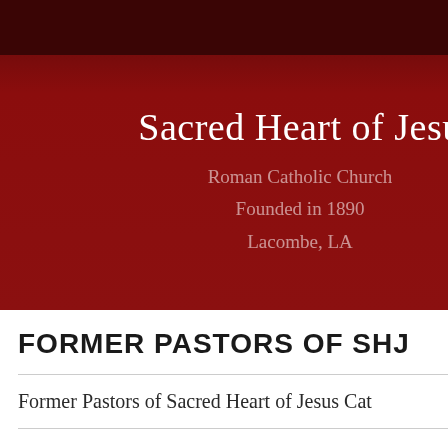Sacred Heart of Jesus
Roman Catholic Church
Founded in 1890
Lacombe, LA
FORMER PASTORS OF SHJ
Former Pastors of Sacred Heart of Jesus Cat…